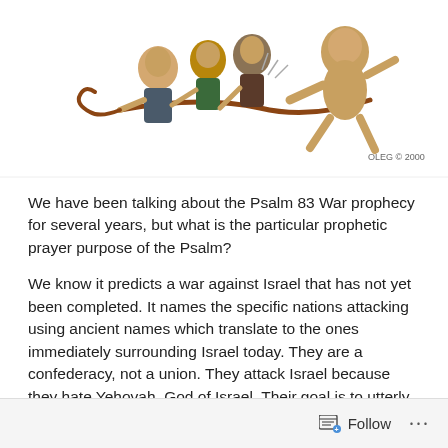[Figure (illustration): A political cartoon/caricature showing several figures in a tug-of-war scene, with a copyright mark 'OLEG © 2000' in the lower right of the image.]
We have been talking about the Psalm 83 War prophecy for several years, but what is the particular prophetic prayer purpose of the Psalm?
We know it predicts a war against Israel that has not yet been completed. It names the specific nations attacking using ancient names which translate to the ones immediately surrounding Israel today. They are a confederacy, not a union. They attack Israel because they hate Yehovah, God of Israel. Their goal is to utterly defeat Israel so that even its name will be forgotten.
Follow ···